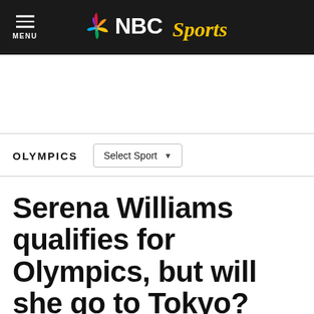NBC Sports
OLYMPICS
Serena Williams qualifies for Olympics, but will she go to Tokyo?
By Nick Zaccardi    May 15, 2021, 1:09 PM EDT